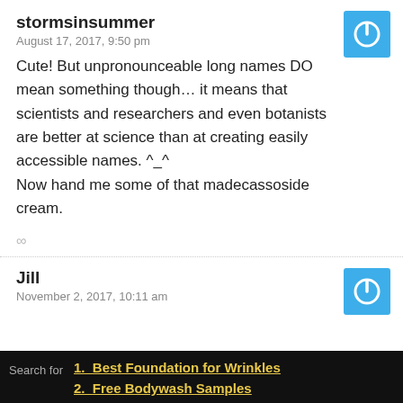stormsinsummer
August 17, 2017, 9:50 pm
Cute! But unpronounceable long names DO mean something though… it means that scientists and researchers and even botanists are better at science than at creating easily accessible names. ^_^
Now hand me some of that madecassoside cream.
∞
Jill
November 2, 2017, 10:11 am
Search for
1. Best Foundation for Wrinkles
2. Free Bodywash Samples